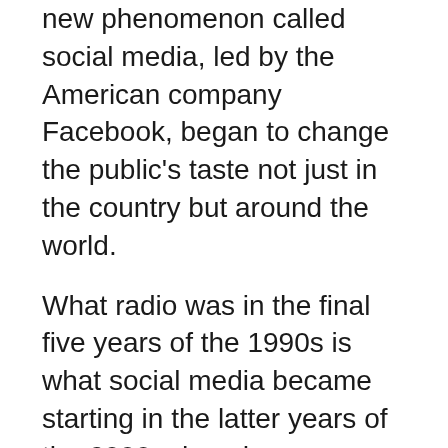new phenomenon called social media, led by the American company Facebook, began to change the public's taste not just in the country but around the world.
What radio was in the final five years of the 1990s is what social media became starting in the latter years of the 2000s decade.
Radio and TV stations, newspapers and magazines found themselves increasingly competing directly with Facebook for people's attention.
The abundance of MP3 music websites on the Internet reduced the need for many to tune in to radio to discover the latest songs, especially when smartphones started becoming ubiquitous in the mid-2010s decade.
For some reason, the westernised radio stations in Kampala have not yet adjusted to the new consumption